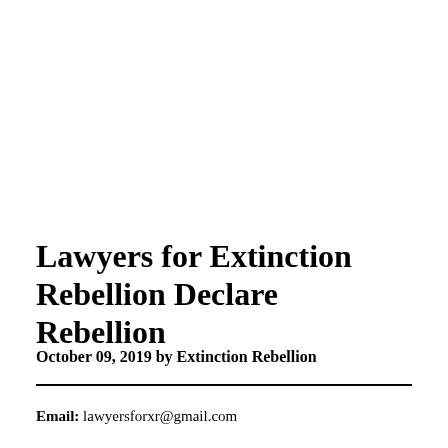Lawyers for Extinction Rebellion Declare Rebellion
October 09, 2019 by Extinction Rebellion
Email: lawyersforxr@gmail.com